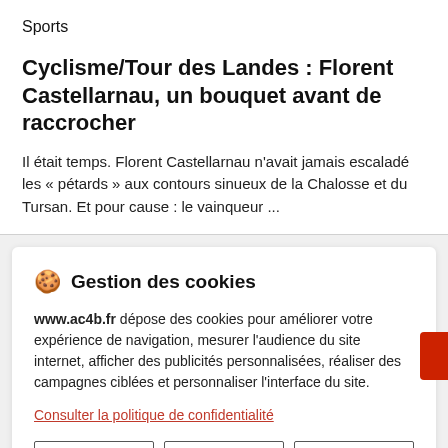Sports
Cyclisme/Tour des Landes : Florent Castellarnau, un bouquet avant de raccrocher
Il était temps. Florent Castellarnau n'avait jamais escaladé les « pétards » aux contours sinueux de la Chalosse et du Tursan. Et pour cause : le vainqueur ...
🍪  Gestion des cookies
www.ac4b.fr dépose des cookies pour améliorer votre expérience de navigation, mesurer l'audience du site internet, afficher des publicités personnalisées, réaliser des campagnes ciblées et personnaliser l'interface du site.
Consulter la politique de confidentialité
REFUSER   PARAMÉTRER   ACCEPTER
termine deuxième de la Coupe de France ...